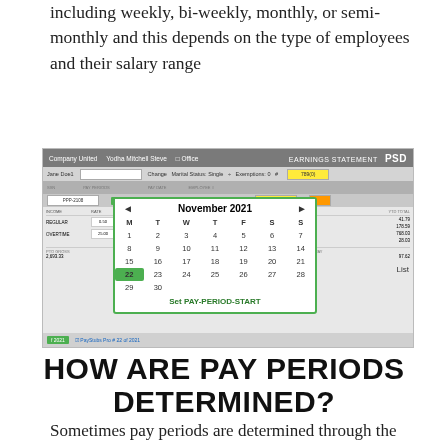including weekly, bi-weekly, monthly, or semi-monthly and this depends on the type of employees and their salary range
[Figure (screenshot): Screenshot of a payroll earnings statement software (PSD) showing employee pay period data with a November 2021 calendar overlay for setting PAY-PERIOD-START date. The calendar highlights the 22nd in green.]
HOW ARE PAY PERIODS DETERMINED?
Sometimes pay periods are determined through the salary range, or it may depend on holidays or the start date of the employee.